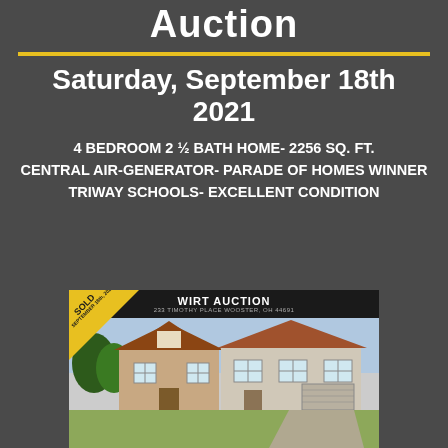Auction
Saturday, September 18th 2021
4 BEDROOM 2 ½ BATH HOME- 2256 SQ. FT.
CENTRAL AIR-GENERATOR- PARADE OF HOMES WINNER
TRIWAY SCHOOLS- EXCELLENT CONDITION
[Figure (photo): Photo of a residential home with a SOLD banner, Wirt Auction sign, brick and siding exterior with brown roof, labeled 233 Timothy Place, Wooster, OH 44691]